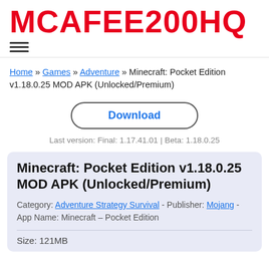MCAFEE200HQ
Home » Games » Adventure » Minecraft: Pocket Edition v1.18.0.25 MOD APK (Unlocked/Premium)
Download
Last version: Final: 1.17.41.01 | Beta: 1.18.0.25
Minecraft: Pocket Edition v1.18.0.25 MOD APK (Unlocked/Premium)
Category: Adventure Strategy Survival - Publisher: Mojang - App Name: Minecraft – Pocket Edition
Size: 121MB